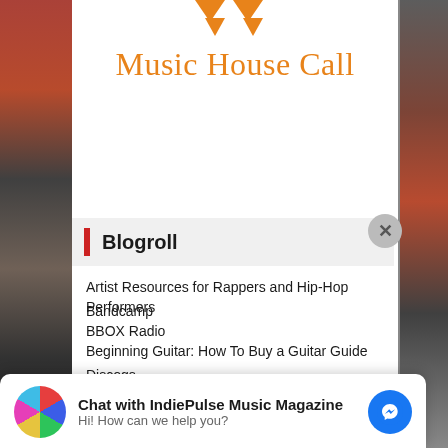Music House Call
Blogroll
Artist Resources for Rappers and Hip-Hop Performers
Bandcamp
BBOX Radio
Beginning Guitar: How To Buy a Guitar Guide
Discogs
FamilyHype
Chat with IndiePulse Music Magazine
Hi! How can we help you?